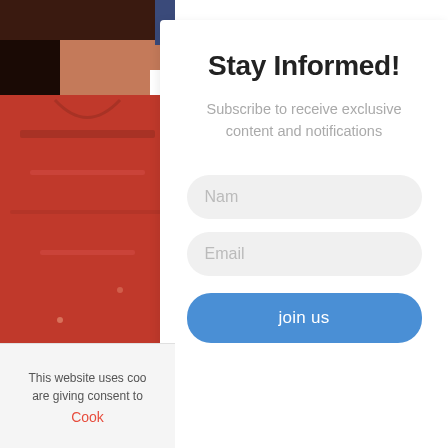[Figure (photo): Partial photo of a person wearing a red top, visible from chin/neck area downward, with dark hair partially visible at top]
Stay Informed!
Subscribe to receive exclusive content and notifications
Nam
Email
join us
This website uses coo are giving consent to
Cook